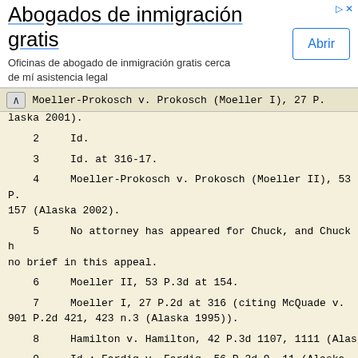[Figure (other): Advertisement banner: 'Abogados de inmigración gratis' with subtitle 'Oficinas de abogado de inmigración gratis cerca de mí asistencia legal' and an 'Abrir' button]
Moeller-Prokosch v. Prokosch (Moeller I), 27 P. laska 2001).
2     Id.
3     Id. at 316-17.
4     Moeller-Prokosch v. Prokosch (Moeller II), 53 P. 157 (Alaska 2002).
5     No attorney has appeared for Chuck, and Chuck h no brief in this appeal.
6     Moeller II, 53 P.3d at 154.
7     Moeller I, 27 P.2d at 316 (citing McQuade v. 901 P.2d 421, 423 n.3 (Alaska 1995)).
8     Hamilton v. Hamilton, 42 P.3d 1107, 1111 (Alas
9     Id.; Fardig v. Fardig, 56 P.3d 9, 11 (Alaska 20
10    Hamilton, 42 P.3d at 1111.